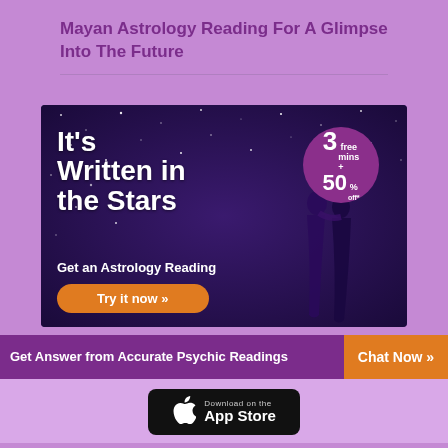Mayan Astrology Reading For A Glimpse Into The Future
[Figure (illustration): Advertisement banner for an astrology reading service. Shows starry night sky background with silhouettes of a couple, bold white text reading 'It’s Written in the Stars', purple circle with '3 free mins + 50% off' offer, subtext 'Get an Astrology Reading', and orange 'Try it now »' button.]
Get Answer from Accurate Psychic Readings
[Figure (screenshot): Orange 'Chat Now »' button]